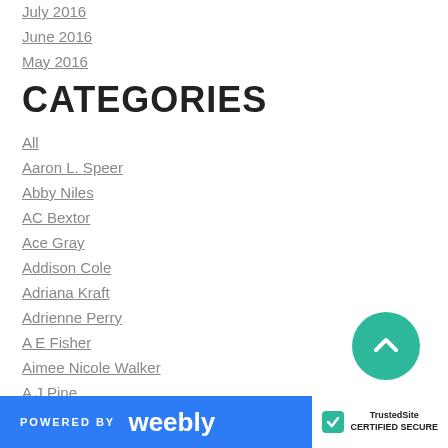July 2016
June 2016
May 2016
CATEGORIES
All
Aaron L. Speer
Abby Niles
AC Bextor
Ace Gray
Addison Cole
Adriana Kraft
Adrienne Perry
A E Fisher
Aimee Nicole Walker
A J Pine
Alana Albertson
Aleisha Siron
POWERED BY weebly | TrustedSite CERTIFIED SECURE